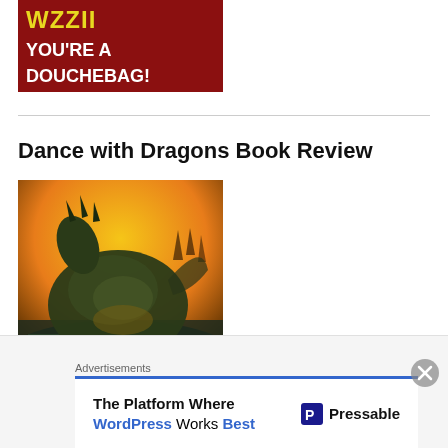[Figure (illustration): Book cover or graphic with dark red background, yellow stylized text at top and white bold text reading YOU'RE A DOUCHEBAG!]
Dance with Dragons Book Review
[Figure (illustration): Fantasy illustration of a large dark green dragon seen from behind, resting near water with a yellowish glowing sky background]
Advertisements
The Platform Where WordPress Works Best
Pressable